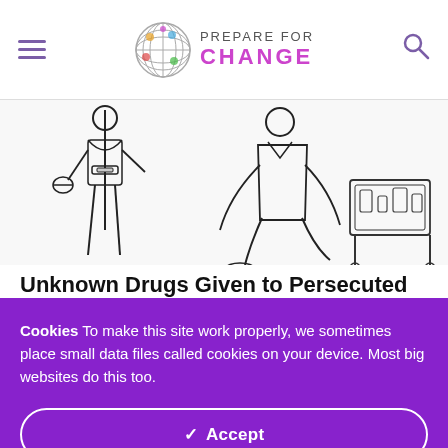Prepare For Change
[Figure (illustration): Black and white line drawing showing figures in what appears to be a medical or detention scene, with a person kneeling and a medical cart with supplies]
Unknown Drugs Given to Persecuted Citizens in China to Stop Them
Cookies To make this site work properly, we sometimes place small data files called cookies on your device. Most big websites do this too.
Accept
Change Settings